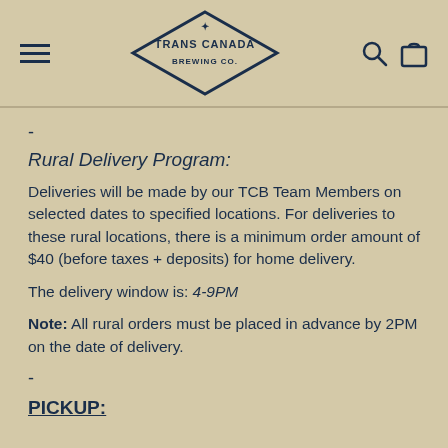Trans Canada Brewing Co. — navigation header with hamburger menu, logo, search and cart icons
-
Rural Delivery Program:
Deliveries will be made by our TCB Team Members on selected dates to specified locations. For deliveries to these rural locations, there is a minimum order amount of $40 (before taxes + deposits) for home delivery.
The delivery window is: 4-9PM
Note: All rural orders must be placed in advance by 2PM on the date of delivery.
-
PICKUP: